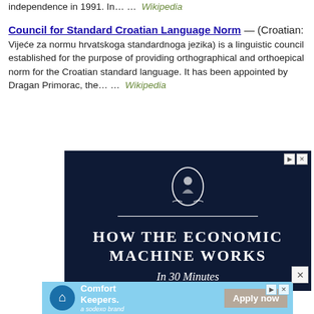independence in 1991. In… …  Wikipedia
Council for Standard Croatian Language Norm — (Croatian: Vijeće za normu hrvatskoga standardnoga jezika) is a linguistic council established for the purpose of providing orthographical and orthoepical norm for the Croatian standard language. It has been appointed by Dragan Primorac, the… …  Wikipedia
[Figure (screenshot): Dark navy blue advertisement banner reading 'HOW THE ECONOMIC MACHINE WORKS In 30 Minutes' with decorative oval logo at top]
[Figure (screenshot): Light blue advertisement banner for Comfort Keepers (a Sodexo brand) with 'Apply now' button]